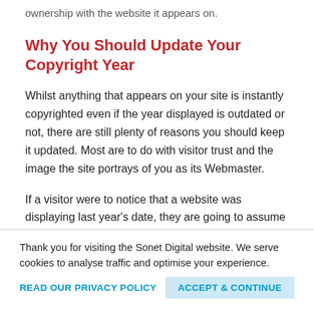ownership with the website it appears on.
Why You Should Update Your Copyright Year
Whilst anything that appears on your site is instantly copyrighted even if the year displayed is outdated or not, there are still plenty of reasons you should keep it updated. Most are to do with visitor trust and the image the site portrays of you as its Webmaster.
If a visitor were to notice that a website was displaying last year's date, they are going to assume the website is outdated or the owner is not bothered
Thank you for visiting the Sonet Digital website. We serve cookies to analyse traffic and optimise your experience.
READ OUR PRIVACY POLICY
ACCEPT & CONTINUE